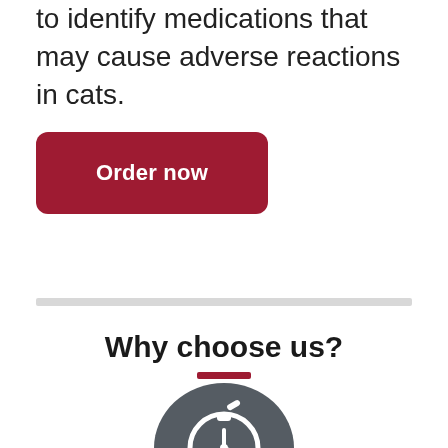to identify medications that may cause adverse reactions in cats.
[Figure (other): Dark red rounded rectangle button with white text reading 'Order now']
Why choose us?
[Figure (illustration): Dark grey circle with a white stopwatch/timer icon partially visible at the bottom of the page]